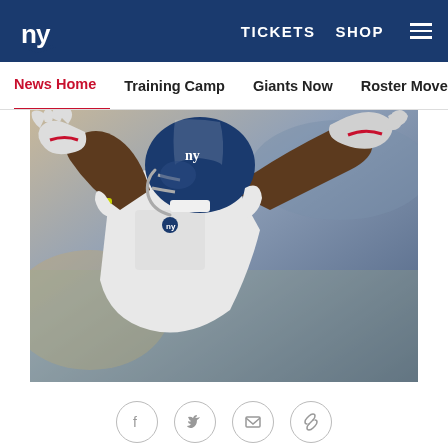NY Giants — TICKETS   SHOP   ☰
News Home   Training Camp   Giants Now   Roster Moves   Fact o
[Figure (photo): New York Giants football player in white uniform and blue helmet reaching out to catch a ball during training camp practice]
PHOTOS: TRAINING CAMP PRACTICE] (http://www.giants.com/photos/photos/Giants-Training-Camp-Practice-7-29/63a7b246-4061-4afc-9a95-de37bbe15d7b) Cruz was absent from the Quest Diagnostics Training Center during the spring because